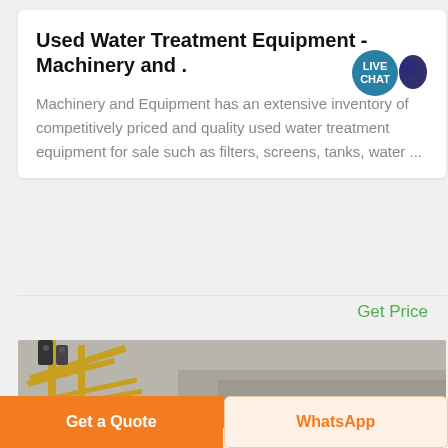Used Water Treatment Equipment - Machinery and .
Machinery and Equipment has an extensive inventory of competitively priced and quality used water treatment equipment for sale such as filters, screens, tanks, water ...
Get Price
[Figure (photo): Photo of yellow industrial water treatment equipment/conveyor machinery against a grey rocky/sandy background, partially cropped at bottom of card]
Get a Quote
WhatsApp